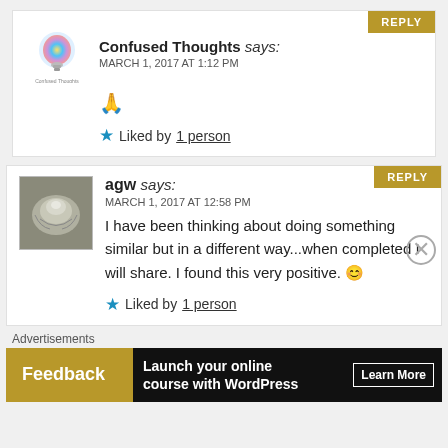Confused Thoughts says: MARCH 1, 2017 AT 1:12 PM 🙏 Liked by 1 person
REPLY
agw says: MARCH 1, 2017 AT 12:58 PM I have been thinking about doing something similar but in a different way...when completed I will share. I found this very positive. 😊 Liked by 1 person
REPLY
Advertisements
Feedback  Launch your online course with WordPress  Learn More